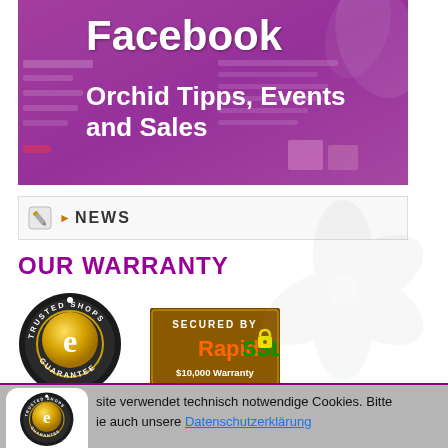[Figure (screenshot): Facebook page screenshot banner showing an orchid shop Facebook page with purple/magenta background, overlaid with bold white text 'Facebook' and 'Orchid Tipps, Events and Sales']
NEWS
OUR WARRANTY
[Figure (logo): Trusted Shops Guarantee circular badge with 'e' logo in gold/dark colors]
[Figure (logo): SECURED BY RapidSSL $10,000 Warranty badge with padlock icon]
site verwendet technisch notwendige Cookies. Bitte ie auch unsere Datenschutzerklärung
[Figure (logo): Trusted Shops Guarantee badge with 5 gold stars and rating 4,79]